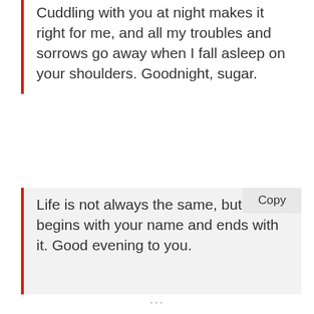Cuddling with you at night makes it right for me, and all my troubles and sorrows go away when I fall asleep on your shoulders. Goodnight, sugar.
Life is not always the same, but my life begins with your name and ends with it. Good evening to you.